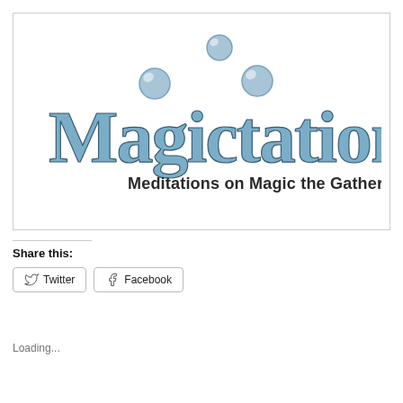[Figure (logo): Magictations logo — large blue serif text reading 'Magictations' with floating bubbles above letters, subtitle 'Meditations on Magic the Gathering' in dark sans-serif]
Share this:
Twitter
Facebook
Loading...